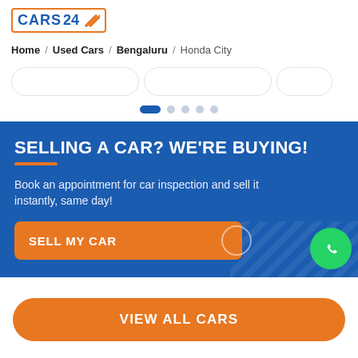[Figure (logo): CARS24 logo with orange border and diagonal slash icon]
Home / Used Cars / Bengaluru / Honda City
[Figure (screenshot): Carousel with pill-shaped filter cards and pagination dots (1 active of 5)]
SELLING A CAR? WE'RE BUYING!
Book an appointment for car inspection and sell it instantly, same day!
SELL MY CAR
VIEW ALL CARS